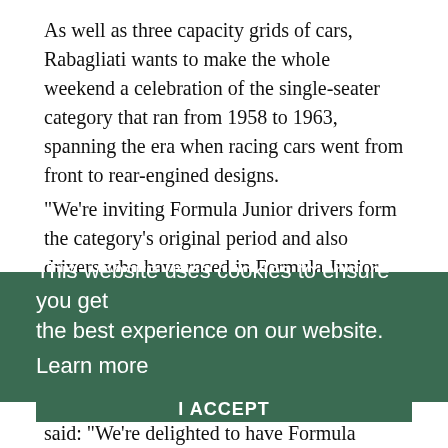As well as three capacity grids of cars, Rabagliati wants to make the whole weekend a celebration of the single-seater category that ran from 1958 to 1963, spanning the era when racing cars went from front to rear-engined designs.
“We’re inviting Formula Junior drivers form the category’s original period and also drivers who have raced in Formula Junior since the class was recreated as an historic category in 1975,” said Rabagliati, who says that Juniors are still being discovered. “We’re still finding cars in barns and some of them have not been used for decades.
This website uses cookies to ensure you get the best experience on our website.
Learn more
I ACCEPT
and Chief Executive Officer Grahame White said: “We’re delighted to have Formula Junior as a major element of the event and also to be part of the Formula Junior Diamond Jubilee World Tour. There